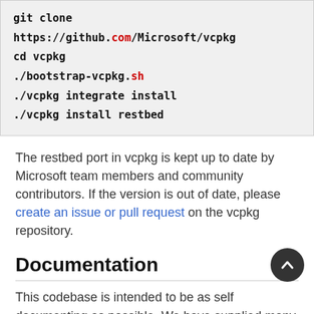git clone https://github.com/Microsoft/vcpkg
cd vcpkg
./bootstrap-vcpkg.sh
./vcpkg integrate install
./vcpkg install restbed
The restbed port in vcpkg is kept up to date by Microsoft team members and community contributors. If the version is out of date, please create an issue or pull request on the vcpkg repository.
Documentation
This codebase is intended to be as self documenting as possible. We have supplied many examples and test suites to help aid developers.
You can locate the latest design and API